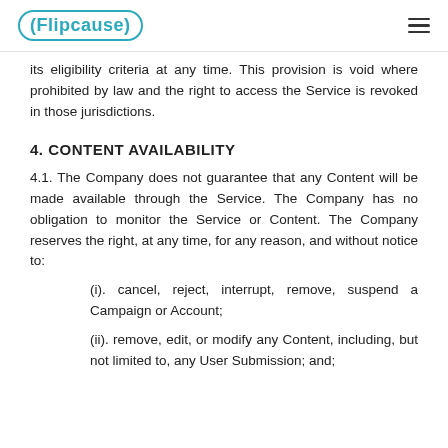Flipcause
its eligibility criteria at any time. This provision is void where prohibited by law and the right to access the Service is revoked in those jurisdictions.
4. CONTENT AVAILABILITY
4.1. The Company does not guarantee that any Content will be made available through the Service. The Company has no obligation to monitor the Service or Content. The Company reserves the right, at any time, for any reason, and without notice to:
(i). cancel, reject, interrupt, remove, suspend a Campaign or Account;
(ii). remove, edit, or modify any Content, including, but not limited to, any User Submission; and;